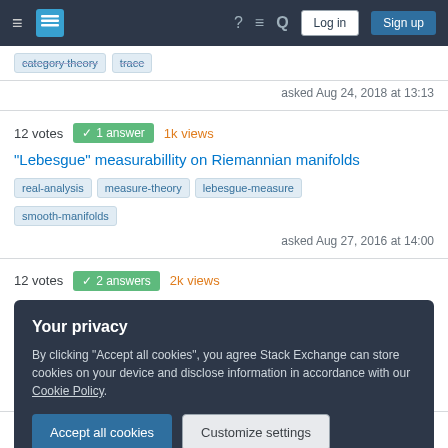Stack Exchange navigation header with hamburger menu, logo, help, chat, search icons, Log in and Sign up buttons
category theory   trace
asked Aug 24, 2018 at 13:13
12 votes  ✓ 1 answer  1k views
"Lebesgue" measurabillity on Riemannian manifolds
real-analysis   measure-theory   lebesgue-measure   smooth-manifolds
asked Aug 27, 2016 at 14:00
12 votes  ✓ 2 answers  2k views
Your privacy
By clicking "Accept all cookies", you agree Stack Exchange can store cookies on your device and disclose information in accordance with our Cookie Policy.
Accept all cookies   Customize settings
Is there a  'global' convexity locally around a minimum?